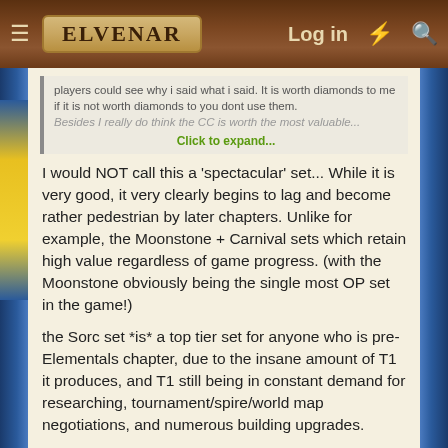ELVENAR   Log in
players could see why i said what i said. It is worth diamonds to me if it is not worth diamonds to you dont use them. Besides I really do think the CC is worth the most valuable... Click to expand...
I would NOT call this a 'spectacular' set... While it is very good, it very clearly begins to lag and become rather pedestrian by later chapters. Unlike for example, the Moonstone + Carnival sets which retain high value regardless of game progress. (with the Moonstone obviously being the single most OP set in the game!)
the Sorc set *is* a top tier set for anyone who is pre-Elementals chapter, due to the insane amount of T1 it produces, and T1 still being in constant demand for researching, tournament/spire/world map negotiations, and numerous building upgrades.
It is a decent set for Elementals, and possibly also Amunii as well.
The T1 is less useful now, since the game is beginning the